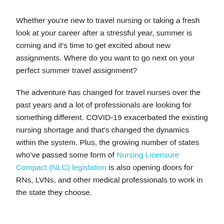Whether you're new to travel nursing or taking a fresh look at your career after a stressful year, summer is coming and it's time to get excited about new assignments. Where do you want to go next on your perfect summer travel assignment?
The adventure has changed for travel nurses over the past years and a lot of professionals are looking for something different. COVID-19 exacerbated the existing nursing shortage and that's changed the dynamics within the system. Plus, the growing number of states who've passed some form of Nursing Licensure Compact (NLC) legislation is also opening doors for RNs, LVNs, and other medical professionals to work in the state they choose.